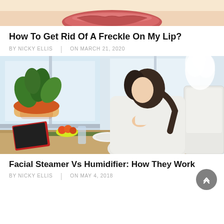[Figure (photo): Close-up of a woman's lips and lower face, cropped at top of page]
How To Get Rid Of A Freckle On My Lip?
BY NICKY ELLIS  |  ON MARCH 21, 2020
[Figure (photo): Woman in white bathrobe sitting at a table with a humidifier steaming beside her, a potted plant in the background, and food/items on the table]
Facial Steamer Vs Humidifier: How They Work
BY NICKY ELLIS  |  ON MAY 4, 2018